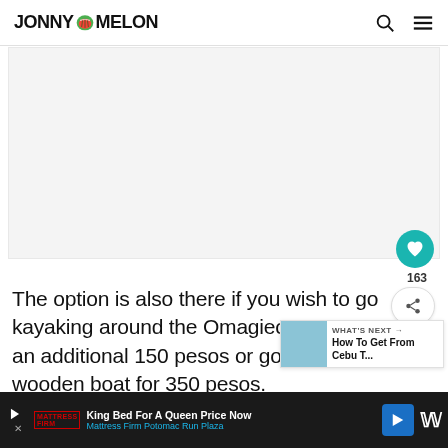JONNY MELON
[Figure (photo): Large image placeholder area (light gray rectangle, appears to be a travel/nature photo)]
The option is also there if you wish to go kayaking around the Omagieca Mangro... for an additional 150 pesos or go... in a small wooden boat for 350 pesos.
These activities are best done at high tide...
King Bed For A Queen Price Now | Mattress Firm Potomac Run Plaza